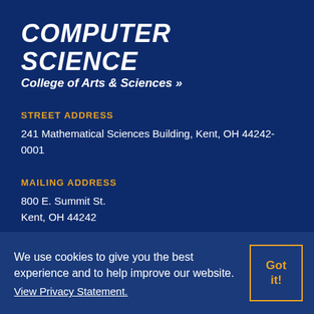COMPUTER SCIENCE
College of Arts & Sciences  »
STREET ADDRESS
241 Mathematical Sciences Building, Kent, OH 44242-0001
MAILING ADDRESS
800 E. Summit St.
Kent, OH 44242
CONTACT US
330-672-0080
We use cookies to give you the best experience and to help improve our website. View Privacy Statement.